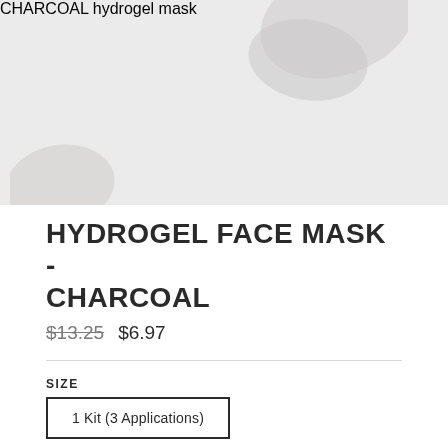[Figure (photo): Product photo of Charcoal Hydrogel Face Mask packaging with light grey/silver tones showing 'CHARCOAL' text and 'hydrogel' subtext, with decorative leaf/floral elements]
HYDROGEL FACE MASK - CHARCOAL
$13.25 $6.97
SIZE
1 Kit (3 Applications)